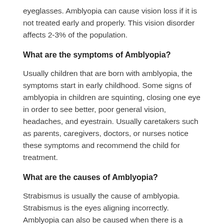eyeglasses. Amblyopia can cause vision loss if it is not treated early and properly. This vision disorder affects 2-3% of the population.
What are the symptoms of Amblyopia?
Usually children that are born with amblyopia, the symptoms start in early childhood. Some signs of amblyopia in children are squinting, closing one eye in order to see better, poor general vision, headaches, and eyestrain. Usually caretakers such as parents, caregivers, doctors, or nurses notice these symptoms and recommend the child for treatment.
What are the causes of Amblyopia?
Strabismus is usually the cause of amblyopia. Strabismus is the eyes aligning incorrectly. Amblyopia can also be caused when there is a large difference